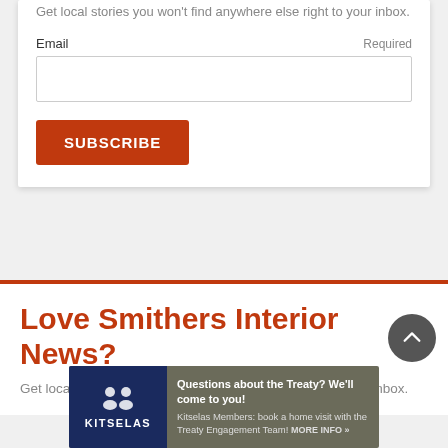Get local stories you won't find anywhere else right to your inbox.
Email  Required
SUBSCRIBE
Love Smithers Interior News?
Get local stories you won't find anywhere else right to your inbox.
[Figure (infographic): Kitselas banner advertisement: Questions about the Treaty? We'll come to you! Kitselas Members: book a home visit with the Treaty Engagement Team! MORE INFO »]